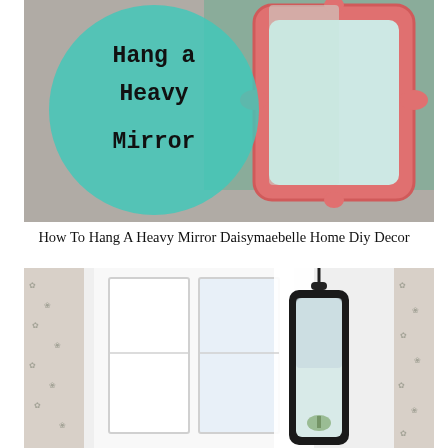[Figure (photo): Photo of a pink ornate mirror leaning against a wall with a teal circular overlay containing the text 'Hang a Heavy Mirror' in typewriter font]
How To Hang A Heavy Mirror Daisymaebelle Home Diy Decor
[Figure (photo): Photo of a tall black-framed rectangular mirror hanging from a hook on a white wall next to a window, with floral wallpaper visible on the sides]